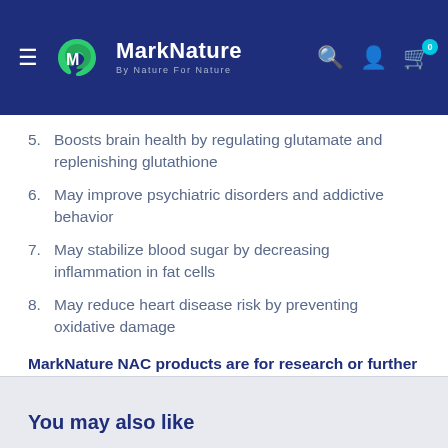MarkNature — By Nature For Nature
5. Boosts brain health by regulating glutamate and replenishing glutathione
6. May improve psychiatric disorders and addictive behavior
7. May stabilize blood sugar by decreasing inflammation in fat cells
8. May reduce heart disease risk by preventing oxidative damage
MarkNature NAC products are for research or further manufacturing use only, not for direct human use.
You may also like